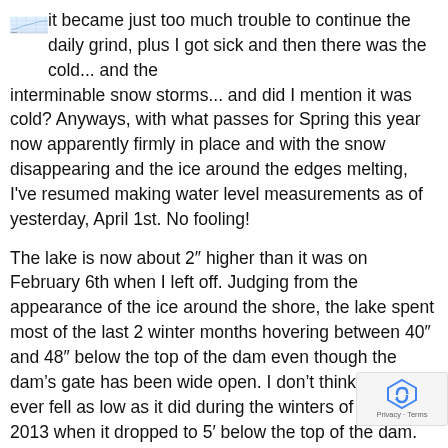[Figure (continuous-plot): Small thumbnail chart showing water level data over time, with a blue/teal line graph on a light background with grid lines.]
it became just too much trouble to continue the daily grind, plus I got sick and then there was the cold... and the interminable snow storms... and did I mention it was cold? Anyways, with what passes for Spring this year now apparently firmly in place and with the snow disappearing and the ice around the edges melting, I've resumed making water level measurements as of yesterday, April 1st. No fooling!
The lake is now about 2″ higher than it was on February 6th when I left off. Judging from the appearance of the ice around the shore, the lake spent most of the last 2 winter months hovering between 40″ and 48″ below the top of the dam even though the dam's gate has been wide open. I don't think the level ever fell as low as it did during the winters of 2012 and 2013 when it dropped to 5′ below the top of the dam. When I left off making level measurements I also left off keeping track of precipitation. I plan to scarf that information for the last 2 months from the Weather Underground site.